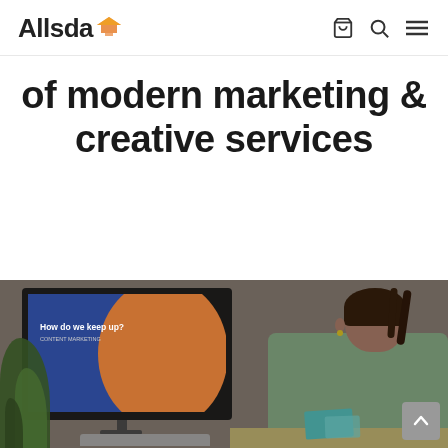Allsda [logo with nav icons: cart, search, menu]
of modern marketing & creative services
[Figure (photo): Person sitting at a desk looking at a large monitor displaying a presentation slide with the text 'How do we keep up?' on a blue and orange background. A plant is visible on the left side. A teal notebook is on the desk.]